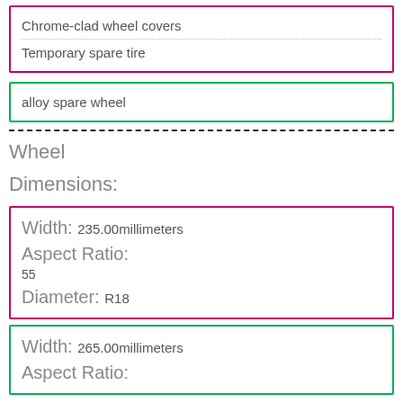Chrome-clad wheel covers
Temporary spare tire
alloy spare wheel
Wheel Dimensions:
Width: 235.00millimeters
Aspect Ratio:
55
Diameter: R18
Width: 265.00millimeters
Aspect Ratio: